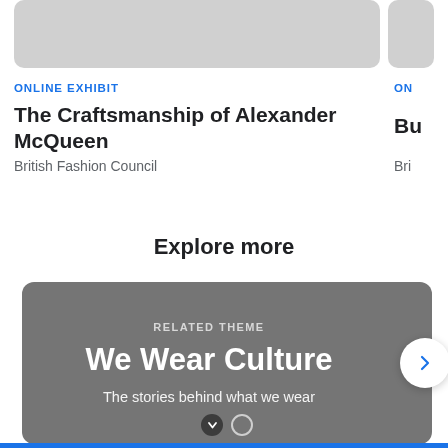[Figure (screenshot): Grey placeholder image bar at the top of the page, partially cropped]
ONLINE EXHIBIT
The Craftsmanship of Alexander McQueen
British Fashion Council
Explore more
[Figure (screenshot): Related Theme card with grey background showing 'RELATED THEME', 'We Wear Culture', 'The stories behind what we wear', with a right arrow button and scroll indicators at bottom]